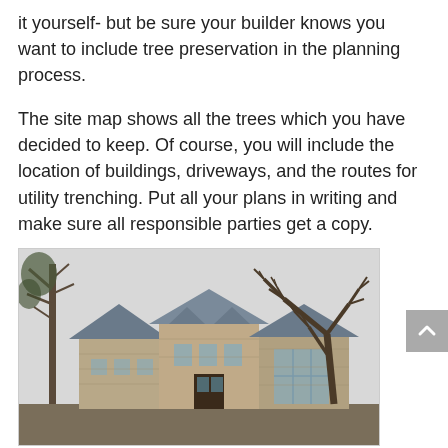it yourself- but be sure your builder knows you want to include tree preservation in the planning process.
The site map shows all the trees which you have decided to keep. Of course, you will include the location of buildings, driveways, and the routes for utility trenching. Put all your plans in writing and make sure all responsible parties get a copy.
[Figure (photo): Photograph of a large stone house with multiple gabled roofs, viewed from the front. A bare, leafless tree with spreading branches is visible on the right side, and a tall tree is on the left. The sky is overcast/light gray.]